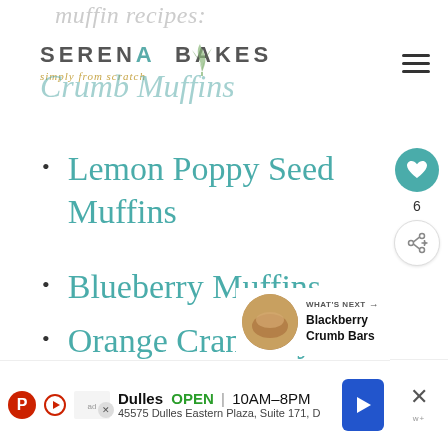muffin recipes:
SERENA BAKES simply from scratch
Crumb Muffins
Lemon Poppy Seed Muffins
Blueberry Muffins
Orange Cranberry Muffins
[Figure (other): Heart/like button showing count of 6, and share button]
[Figure (other): What's Next panel showing Blackberry Crumb Bars with thumbnail image and arrow]
[Figure (other): Dark overlay box in top right corner]
Dulles OPEN 10AM-8PM 45575 Dulles Eastern Plaza, Suite 171, D — advertisement bar